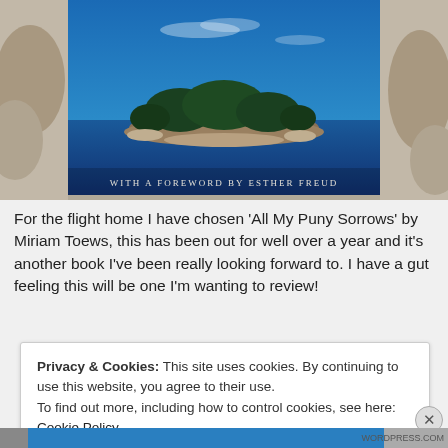[Figure (photo): A book cover photographed against a rocky background. The cover shows an aerial view of a small forested island surrounded by deep blue water. Text at the bottom of the cover reads 'WITH A FOREWORD BY ESTHER FREUD'.]
For the flight home I have chosen 'All My Puny Sorrows' by Miriam Toews, this has been out for well over a year and it's another book I've been really looking forward to. I have a gut feeling this will be one I'm wanting to review!
Privacy & Cookies: This site uses cookies. By continuing to use this website, you agree to their use.
To find out more, including how to control cookies, see here: Cookie Policy
Close and accept